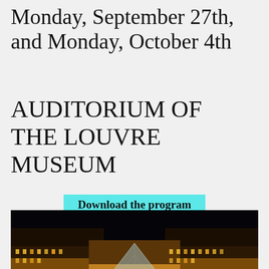Monday, September 27th, and Monday, October 4th
AUDITORIUM OF THE LOUVRE MUSEUM
Download the program
[Figure (photo): Nighttime photograph of the Louvre Museum in Paris, showing the illuminated glass pyramid in the courtyard, with the palace wings lit up in golden light against a dark sky]